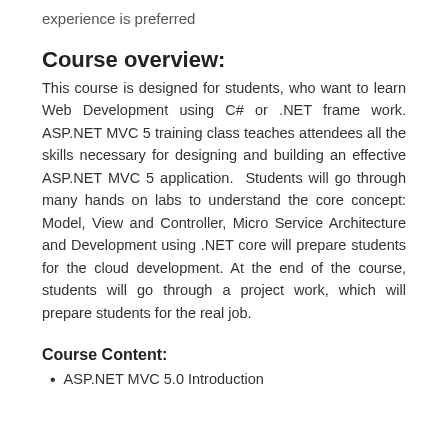experience is preferred
Course overview:
This course is designed for students, who want to learn Web Development using C# or .NET frame work. ASP.NET MVC 5 training class teaches attendees all the skills necessary for designing and building an effective ASP.NET MVC 5 application.  Students will go through many hands on labs to understand the core concept: Model, View and Controller, Micro Service Architecture and Development using .NET core will prepare students for the cloud development. At the end of the course, students will go through a project work, which will prepare students for the real job.
Course Content:
ASP.NET MVC 5.0 Introduction